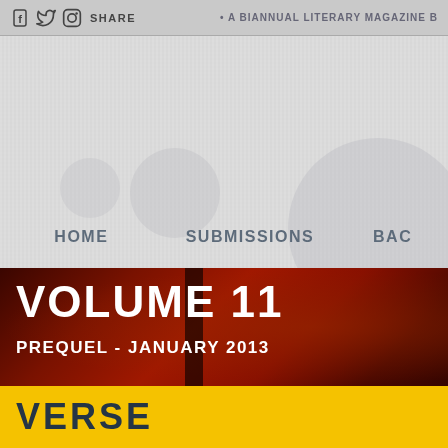f  twitter  camera  SHARE   • A BIANNUAL LITERARY MAGAZINE B
HOME    SUBMISSIONS    BAC
VOLUME 11
PREQUEL - JANUARY 2013
VERSE